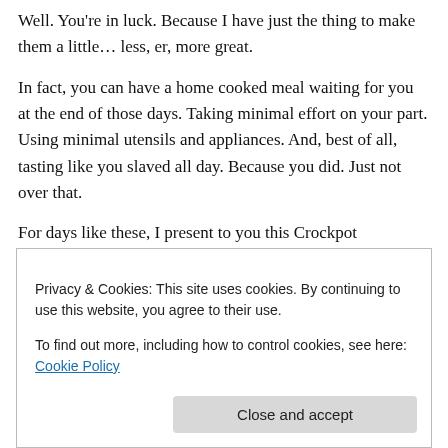Well. You're in luck. Because I have just the thing to make them a little… less, er, more great.
In fact, you can have a home cooked meal waiting for you at the end of those days. Taking minimal effort on your part. Using minimal utensils and appliances. And, best of all, tasting like you slaved all day. Because you did. Just not over that.
For days like these, I present to you this Crockpot Mediterranean Chicken Ragù from Cinnamon Spice and
Privacy & Cookies: This site uses cookies. By continuing to use this website, you agree to their use.
To find out more, including how to control cookies, see here: Cookie Policy
Close and accept